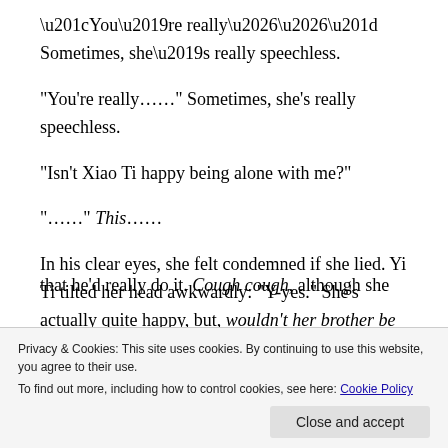“You’re really……” Sometimes, she’s really speechless.
“Isn’t Xiao Ti happy being alone with me?”
“……” This……
In his clear eyes, she felt condemned if she lied. Yi Ti tilted her head awkwardly: “Y-yes.” She’s actually quite happy, but, wouldn’t her brother be sad if she said that?
Although new to this city, with the address in hand, how
that he’d really do it. Cough cough, although she
Privacy & Cookies: This site uses cookies. By continuing to use this website, you agree to their use. To find out more, including how to control cookies, see here: Cookie Policy